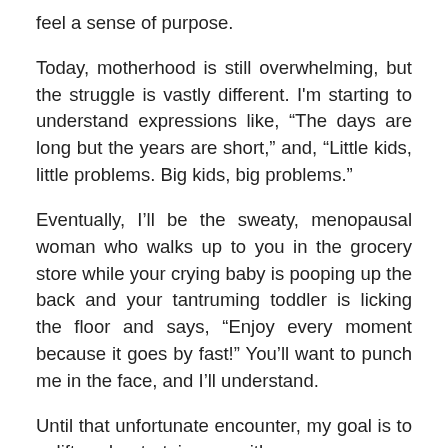feel a sense of purpose.
Today, motherhood is still overwhelming, but the struggle is vastly different. I'm starting to understand expressions like, “The days are long but the years are short,” and, “Little kids, little problems. Big kids, big problems.”
Eventually, I’ll be the sweaty, menopausal woman who walks up to you in the grocery store while your crying baby is pooping up the back and your tantruming toddler is licking the floor and says, “Enjoy every moment because it goes by fast!” You’ll want to punch me in the face, and I’ll understand.
Until that unfortunate encounter, my goal is to uplift and entertain you with essays, memes, and other social media nonsense with a mixture of humor and heart as I plow ahead, but follow me on this wild ride of motherhood in...